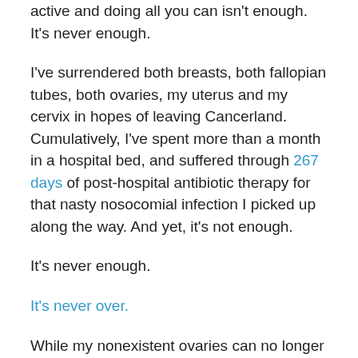active and doing all you can isn't enough. It's never enough.
I've surrendered both breasts, both fallopian tubes, both ovaries, my uterus and my cervix in hopes of leaving Cancerland. Cumulatively, I've spent more than a month in a hospital bed, and suffered through 267 days of post-hospital antibiotic therapy for that nasty nosocomial infection I picked up along the way. And yet, it's not enough.
It's never enough.
It's never over.
While my nonexistent ovaries can no longer make estrogen, now I have to worry about estrogen from my adrenal glands. These two glands are located just above